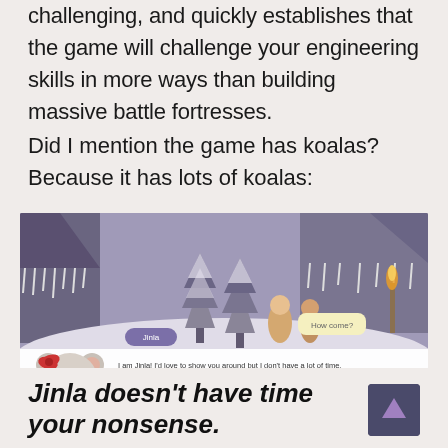challenging, and quickly establishes that the game will challenge your engineering skills in more ways than building massive battle fortresses.
Did I mention the game has koalas? Because it has lots of koalas:
[Figure (screenshot): Screenshot of a video game showing a winter/snow scene with stylized buildings and trees. A koala character named Jinla appears in the lower left with a dialogue bubble saying 'I am Jinla! I'd love to show you around but I don't have a lot of time.' Another bubble on the right says 'How come?']
Jinla doesn't have time for your nonsense.